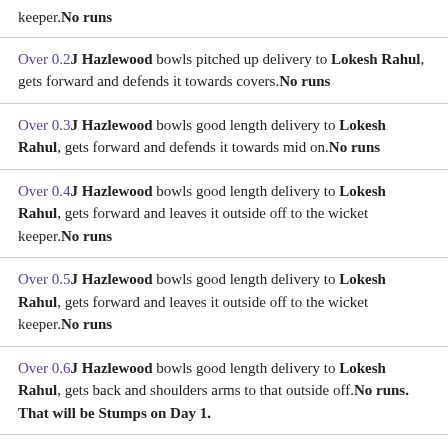keeper.No runs
Over 0.2 J Hazlewood bowls pitched up delivery to Lokesh Rahul, gets forward and defends it towards covers.No runs
Over 0.3 J Hazlewood bowls good length delivery to Lokesh Rahul, gets forward and defends it towards mid on.No runs
Over 0.4 J Hazlewood bowls good length delivery to Lokesh Rahul, gets forward and leaves it outside off to the wicket keeper.No runs
Over 0.5 J Hazlewood bowls good length delivery to Lokesh Rahul, gets forward and leaves it outside off to the wicket keeper.No runs
Over 0.6 J Hazlewood bowls good length delivery to Lokesh Rahul, gets back and shoulders arms to that outside off.No runs. That will be Stumps on Day 1.
Over 1.1 Patrick Cummins bowls good length delivery to Murali